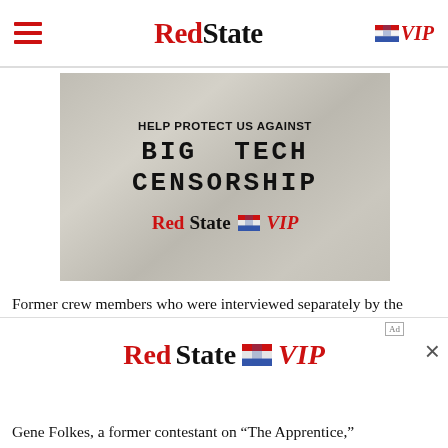RedState | VIP
[Figure (illustration): RedState VIP advertisement banner with distressed gray background. Text reads: HELP PROTECT US AGAINST BIG TECH CENSORSHIP in block letters, followed by 'RedState VIP' logo in red and black.]
Former crew members who were interviewed separately by the Associated Press recounted similar stories of Trump demeaning women, and say he even sometimes stopped production to make lewd comments about a
[Figure (illustration): RedState VIP advertisement banner at the bottom of the page, with close button (×).]
Gene Folkes, a former contestant on "The Apprentice,"